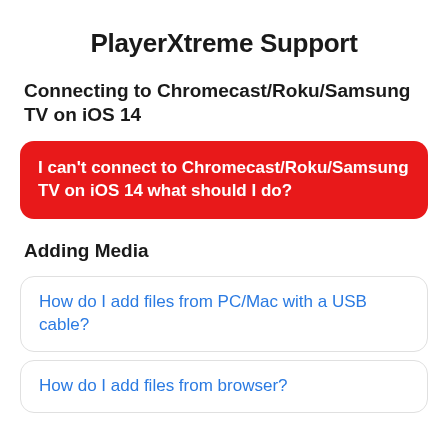PlayerXtreme Support
Connecting to Chromecast/Roku/Samsung TV on iOS 14
I can't connect to Chromecast/Roku/Samsung TV on iOS 14 what should I do?
Adding Media
How do I add files from PC/Mac with a USB cable?
How do I add files from browser?